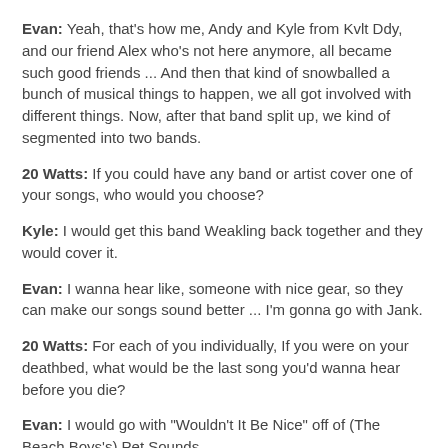Evan: Yeah, that's how me, Andy and Kyle from Kvlt Ddy, and our friend Alex who's not here anymore, all became such good friends ... And then that kind of snowballed a bunch of musical things to happen, we all got involved with different things. Now, after that band split up, we kind of segmented into two bands.
20 Watts: If you could have any band or artist cover one of your songs, who would you choose?
Kyle: I would get this band Weakling back together and they would cover it.
Evan: I wanna hear like, someone with nice gear, so they can make our songs sound better ... I'm gonna go with Jank.
20 Watts: For each of you individually, If you were on your deathbed, what would be the last song you'd wanna hear before you die?
Evan: I would go with "Wouldn't It Be Nice" off of (The Beach Boys's) Pet Sounds.
Kyle: I'm thinking "Bottle In My Hand" by GG Allin ... that would be so funny, like when I die put a bottle in my hand.